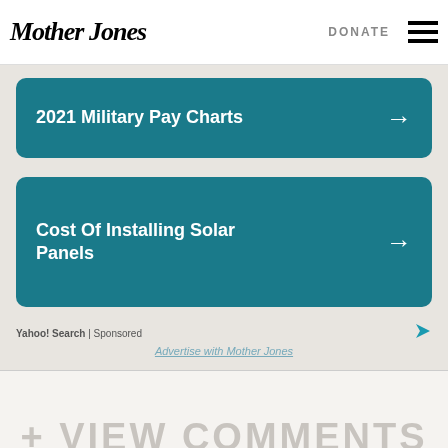Mother Jones | DONATE
[Figure (infographic): Advertisement banner: '2021 Military Pay Charts' with arrow on teal background]
[Figure (infographic): Advertisement banner: 'Cost Of Installing Solar Panels' with arrow on teal background]
Yahoo! Search | Sponsored
Advertise with Mother Jones
+ VIEW COMMENTS